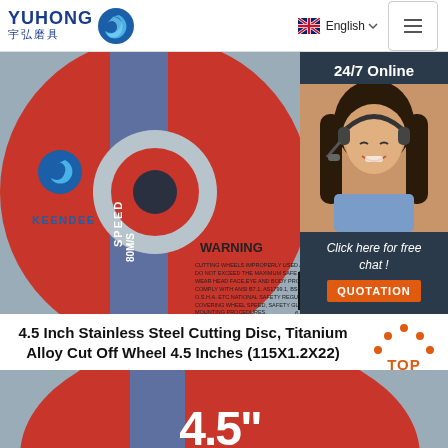YUHONG 宇弘磨具 | English | Navigation menu
[Figure (photo): Yuhong Keendee branded 4.5 inch stainless steel cutting disc shown face-on, red and blue colored, with WARNING text, SPEED 80M/S label, barcode, and a 24/7 Online chat overlay on the right with a female customer service representative and a QUOTATION button.]
4.5 Inch Stainless Steel Cutting Disc, Titanium Alloy Cut Off Wheel 4.5 Inches (115X1.2X22)
[Figure (photo): Bottom partial view of the cutting disc showing the 4.5" text in white bold font on the red disc face.]
[Figure (infographic): TOP button icon with orange dots arranged in an arc above the word TOP in orange text.]